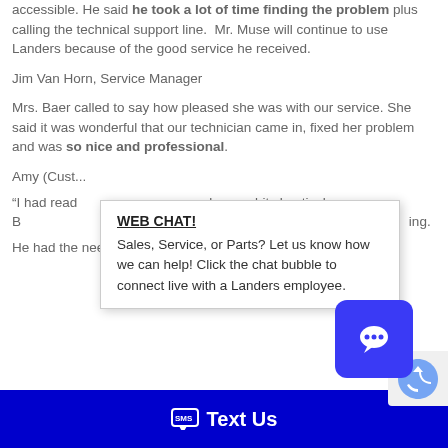accessible. He said he took a lot of time finding the problem plus calling the technical support line. Mr. Muse will continue to use Landers because of the good service he received.
Jim Van Horn, Service Manager
Mrs. Baer called to say how pleased she was with our service. She said it was wonderful that our technician came in, fixed her problem and was so nice and professional.
Amy (Cust...
“I had read... and was a bit skeptical. B... sa... we called. He... ne... ing. He had the needed part on his truck and explained t...
[Figure (infographic): Web chat popup overlay with title 'WEB CHAT!' and text 'Sales, Service, or Parts? Let us know how we can help! Click the chat bubble to connect live with a Landers employee.' Alongside a blue rounded square chat bubble icon.]
Text Us